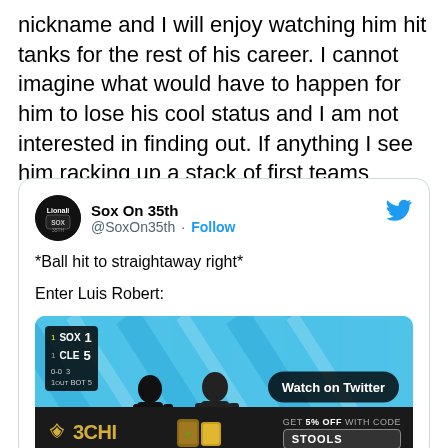nickname and I will enjoy watching him hit tanks for the rest of his career. I cannot imagine what would have to happen for him to lose his cool status and I am not interested in finding out. If anything I see him racking up a stack of first teams throughout the next five years.
[Figure (screenshot): Embedded tweet from @SoxOn35th with text '*Ball hit to straightaway right*' and 'Enter Luis Robert:' followed by a Twitter video thumbnail showing a baseball scoreboard (SOX 1, CLE 5, 0-0, 3, 1 OUT, BOT 5) with a 'Watch on Twitter' button and a 3CHI advertisement banner at the bottom.]